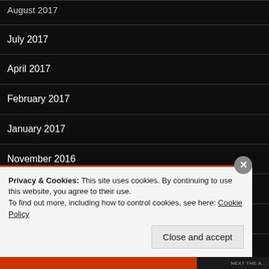August 2017
July 2017
April 2017
February 2017
January 2017
November 2016
September 2016
July 2016
Privacy & Cookies: This site uses cookies. By continuing to use this website, you agree to their use.
To find out more, including how to control cookies, see here: Cookie Policy
Close and accept